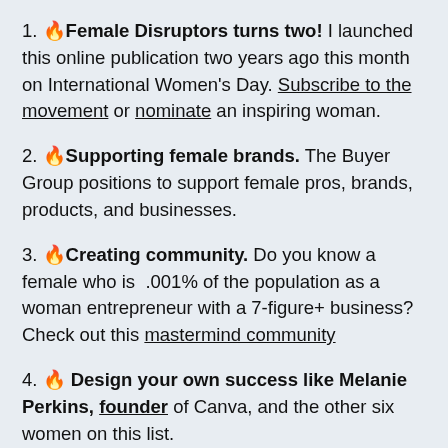1. 🔥Female Disruptors turns two! I launched this online publication two years ago this month on International Women's Day. Subscribe to the movement or nominate an inspiring woman.
2. 🔥Supporting female brands. The Buyer Group positions to support female pros, brands, products, and businesses.
3. 🔥Creating community. Do you know a female who is .001% of the population as a woman entrepreneur with a 7-figure+ business? Check out this mastermind community
4. 🔥 Design your own success like Melanie Perkins, founder of Canva, and the other six women on this list.